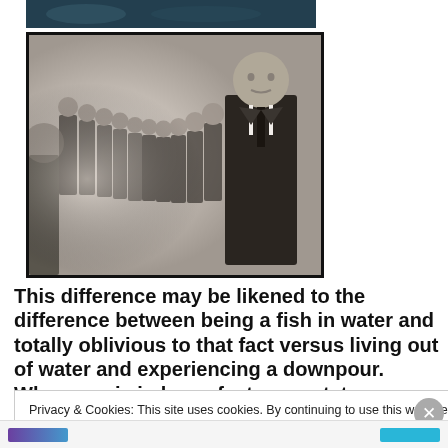[Figure (photo): Top partial image strip — dark teal/navy colored image at very top, cropped.]
[Figure (photo): Black and white photograph showing a row of figures dressed in suits and ties, appearing to be identical or very similar, lined up in a long queue perspective, with the nearest figure in focus and the others receding into the background. The image has a black border.]
This difference may be likened to the difference between being a fish in water and totally oblivious to that fact versus living out of water and experiencing a downpour. When one is in less of a trance state, one
Privacy & Cookies: This site uses cookies. By continuing to use this website, you agree to their use.
To find out more, including how to control cookies, see here: Cookie Policy